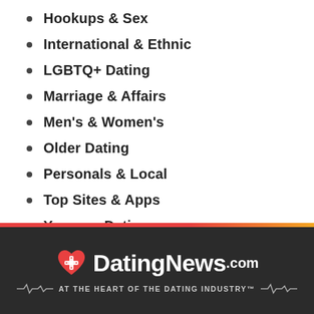Hookups & Sex
International & Ethnic
LGBTQ+ Dating
Marriage & Affairs
Men's & Women's
Older Dating
Personals & Local
Top Sites & Apps
Younger Dating
DatingNews.com — AT THE HEART OF THE DATING INDUSTRY™